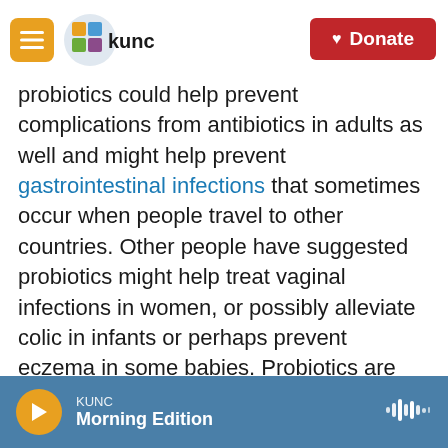KUNC navigation header with Donate button
probiotics could help prevent complications from antibiotics in adults as well and might help prevent gastrointestinal infections that sometimes occur when people travel to other countries. Other people have suggested probiotics might help treat vaginal infections in women, or possibly alleviate colic in infants or perhaps prevent eczema in some babies. Probiotics are also being looked at as a possibility to prevent a serious condition in newborn babies — necrotizing enterocolitis.

Some researchers even argue there's enough evidence to recommend that healthy adults take a
KUNC Morning Edition